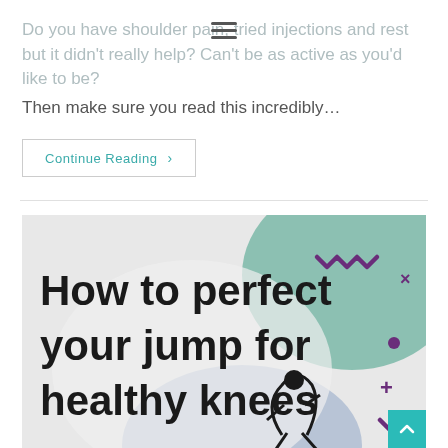Do you have shoulder pain, tried injections and rest but it didn't really help? Can't be as active as you'd like to be? Then make sure you read this incredibly…
Continue Reading ›
[Figure (illustration): Promotional health article image with text 'How to perfect your jump for healthy knees' on a light grey background with green, blue and purple decorative shapes and a silhouette of a jumping person.]